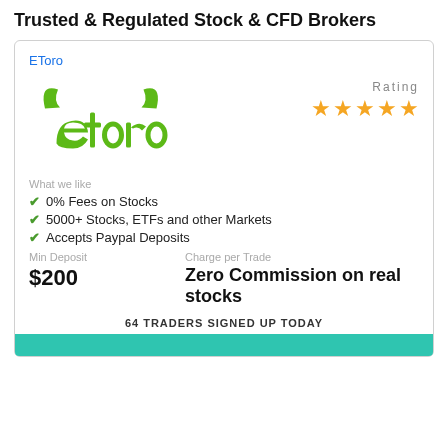Trusted & Regulated Stock & CFD Brokers
EToro
[Figure (logo): eToro green bull logo with the word 'etoro' in lowercase green text]
Rating
5 stars (orange star rating)
What we like
0% Fees on Stocks
5000+ Stocks, ETFs and other Markets
Accepts Paypal Deposits
Min Deposit
$200
Charge per Trade
Zero Commission on real stocks
64 TRADERS SIGNED UP TODAY